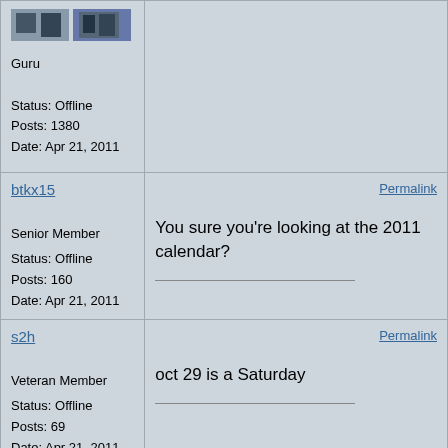[Figure (photo): Avatar image showing game character thumbnails]
Guru
Status: Offline
Posts: 1380
Date: Apr 21, 2011
btkx15
Permalink
Senior Member
Status: Offline
Posts: 160
Date: Apr 21, 2011
You sure you're looking at the 2011 calendar?
s2h
Permalink
Veteran Member
Status: Offline
Posts: 69
Date: Apr 21, 2011
oct 29 is a Saturday
infinity
Permalink